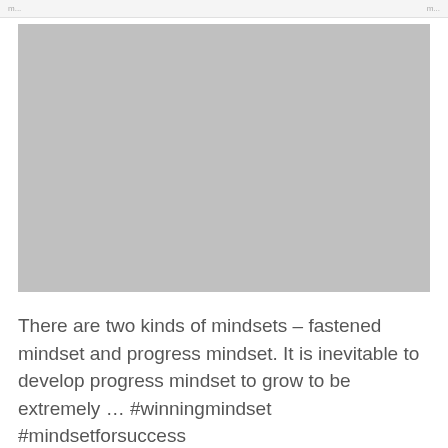[Figure (photo): Large grey placeholder image rectangle]
There are two kinds of mindsets – fastened mindset and progress mindset. It is inevitable to develop progress mindset to grow to be extremely … #winningmindset #mindsetforsuccess